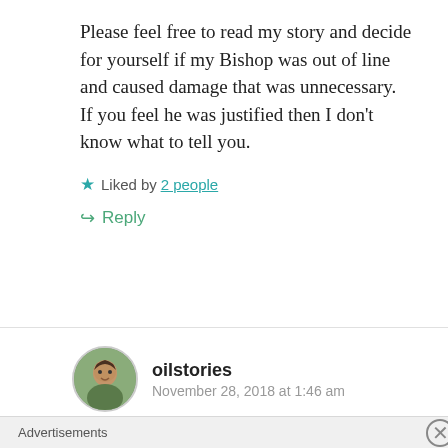Please feel free to read my story and decide for yourself if my Bishop was out of line and caused damage that was unnecessary.
If you feel he was justified then I don't know what to tell you.
Liked by 2 people
Reply
oilstories
November 28, 2018 at 1:46 am
Janice, my story isn't a lie. I wrote a version of it on my wordpress blog a few years ago, and I also
Advertisements